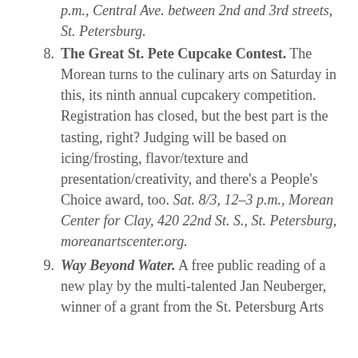The Great St. Pete Cupcake Contest. The Morean turns to the culinary arts on Saturday in this, its ninth annual cupcakery competition. Registration has closed, but the best part is the tasting, right? Judging will be based on icing/frosting, flavor/texture and presentation/creativity, and there's a People's Choice award, too. Sat. 8/3, 12–3 p.m., Morean Center for Clay, 420 22nd St. S., St. Petersburg, moreanartscenter.org.
Way Beyond Water. A free public reading of a new play by the multi-talented Jan Neuberger, winner of a grant from the St. Petersburg Arts